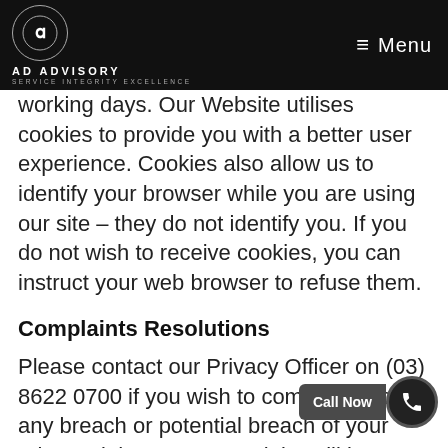AD ADVISORY — SERVICE INTEGRITY EXCELLENCE — Menu
working days. Our Website utilises cookies to provide you with a better user experience. Cookies also allow us to identify your browser while you are using our site – they do not identify you. If you do not wish to receive cookies, you can instruct your web browser to refuse them.
Complaints Resolutions
Please contact our Privacy Officer on (03) 8622 0700 if you wish to complain about any breach or potential breach of your privacy rights. Your complaint will be responded within 7 days. If you are not satisfied with